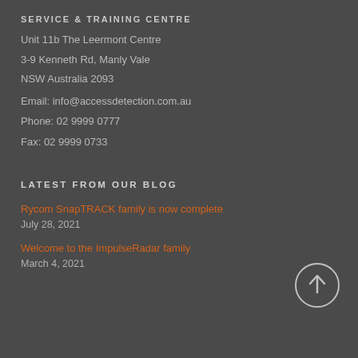SERVICE & TRAINING CENTRE
Unit 11b The Leermont Centre
3-9 Kenneth Rd, Manly Vale
NSW Australia 2093
Email: info@accessdetection.com.au
Phone: 02 9999 0777
Fax: 02 9999 0733
LATEST FROM OUR BLOG
Rycom SnapTRACK family is now complete
July 28, 2021
Welcome to the ImpulseRadar family
March 4, 2021
[Figure (illustration): Circular scroll-to-top button with upward arrow icon]